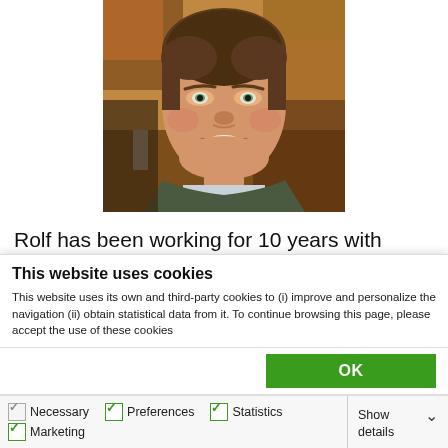[Figure (photo): Headshot of a smiling middle-aged man with brown hair, wearing a dark green sweater over a light shirt, in a restaurant or indoor setting.]
Rolf has been working for 10 years with Axialent
This website uses cookies
This website uses its own and third-party cookies to (i) improve and personalize the navigation (ii) obtain statistical data from it. To continue browsing this page, please accept the use of these cookies
OK
Necessary  Preferences  Statistics  Marketing  Show details